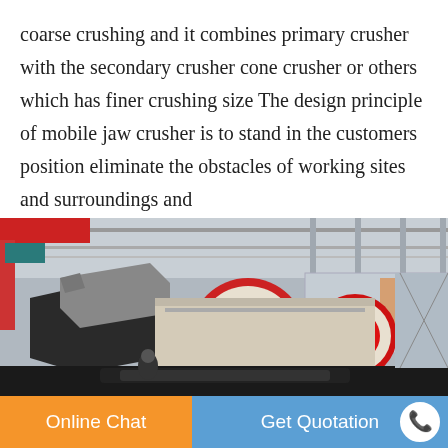coarse crushing and it combines primary crusher with the secondary crusher cone crusher or others which has finer crushing size The design principle of mobile jaw crusher is to stand in the customers position eliminate the obstacles of working sites and surroundings and
[Figure (photo): Industrial photo of a mobile jaw crusher machine inside a large factory/warehouse facility. The machine features prominent red and beige/cream colored circular crusher components in the foreground, with the industrial building structure visible in the background.]
Online Chat
Get Quotation